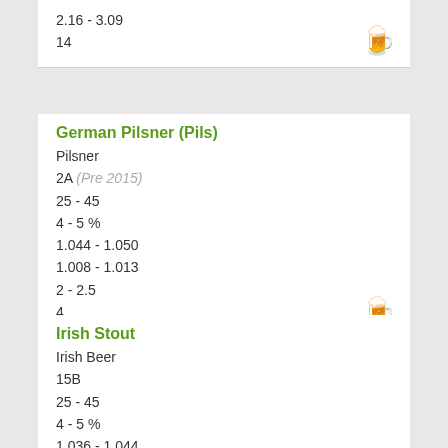2.16 - 3.09
14
German Pilsner (Pils)
Pilsner
2A (Pre 2015)
25 - 45
4 - 5 %
1.044 - 1.050
1.008 - 1.013
2 - 2.5
4
Irish Stout
Irish Beer
15B
25 - 45
4 - 5 %
1.036 - 1.044
1.007 - 1.011
1 - 1.5
33